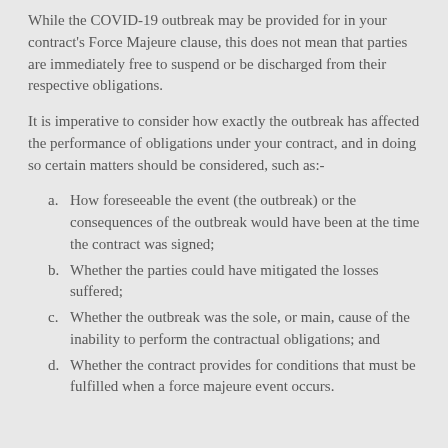While the COVID-19 outbreak may be provided for in your contract's Force Majeure clause, this does not mean that parties are immediately free to suspend or be discharged from their respective obligations.
It is imperative to consider how exactly the outbreak has affected the performance of obligations under your contract, and in doing so certain matters should be considered, such as:-
a. How foreseeable the event (the outbreak) or the consequences of the outbreak would have been at the time the contract was signed;
b. Whether the parties could have mitigated the losses suffered;
c. Whether the outbreak was the sole, or main, cause of the inability to perform the contractual obligations; and
d. Whether the contract provides for conditions that must be fulfilled when a force majeure event occurs.